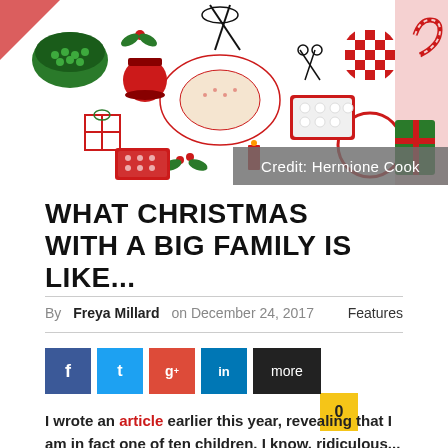[Figure (illustration): Christmas-themed flat illustration in red and green showing food items, gifts, scissors, holly, candles, candy canes, and festive decorations arranged on a white background]
Credit: Hermione Cook
WHAT CHRISTMAS WITH A BIG FAMILY IS LIKE...
By Freya Millard on December 24, 2017   Features
[Figure (infographic): Social sharing buttons: Facebook, Twitter, Google+, LinkedIn, more]
I wrote an article earlier this year, revealing that I am in fact one of ten children. I know, ridiculous...